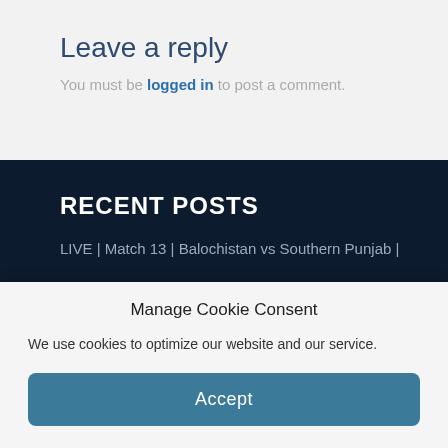Leave a reply
You must be logged in to post a comment.
RECENT POSTS
LIVE | Match 13 | Balochistan vs Southern Punjab |
Manage Cookie Consent
We use cookies to optimize our website and our service.
Accept